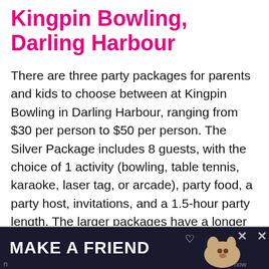Kingpin Bowling, Darling Harbour
There are three party packages for parents and kids to choose between at Kingpin Bowling in Darling Harbour, ranging from $30 per person to $50 per person. The Silver Package includes 8 guests, with the choice of 1 activity (bowling, table tennis, karaoke, laser tag, or arcade), party food, a party host, invitations, and a 1.5-hour party length. The larger packages have a longer duration and the choice of more activities.
[Figure (other): Advertisement banner reading 'MAKE A FRIEND' with a dog image and close buttons, on a dark background.]